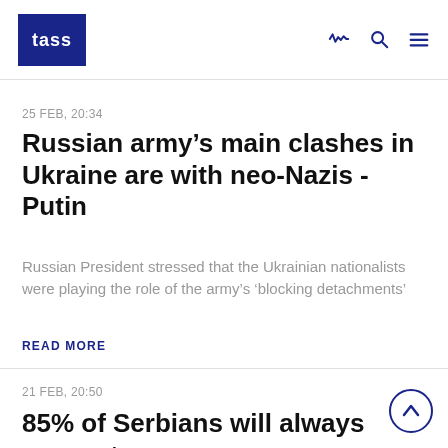TASS
25 FEB, 20:34
Russian army’s main clashes in Ukraine are with neo-Nazis - Putin
Russian President stressed that the Ukrainian nationalists were playing the role of the army’s ‘blocking detachments’
READ MORE
21 FEB, 20:50
85% of Serbians will always support